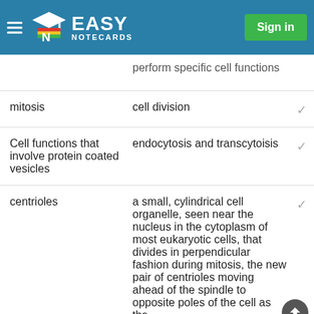Easy Notecards — Sign in
perform specific cell functions
| Term | Definition |
| --- | --- |
| mitosis | cell division |
| Cell functions that involve protein coated vesicles | endocytosis and transcytoisis |
| centrioles | a small, cylindrical cell organelle, seen near the nucleus in the cytoplasm of most eukaryotic cells, that divides in perpendicular fashion during mitosis, the new pair of centrioles moving ahead of the spindle to opposite poles of the cell as the |